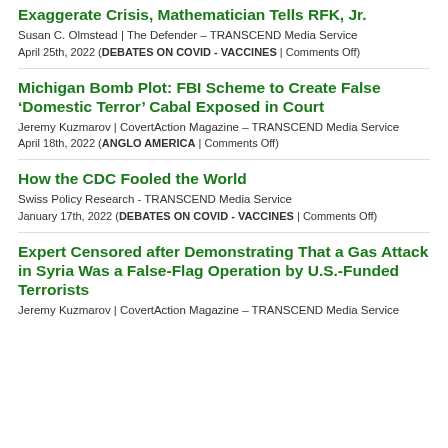Exaggerate Crisis, Mathematician Tells RFK, Jr.
Susan C. Olmstead | The Defender – TRANSCEND Media Service
April 25th, 2022 (DEBATES ON COVID - VACCINES | Comments Off)
Michigan Bomb Plot: FBI Scheme to Create False ‘Domestic Terror’ Cabal Exposed in Court
Jeremy Kuzmarov | CovertAction Magazine – TRANSCEND Media Service
April 18th, 2022 (ANGLO AMERICA | Comments Off)
How the CDC Fooled the World
Swiss Policy Research - TRANSCEND Media Service
January 17th, 2022 (DEBATES ON COVID - VACCINES | Comments Off)
Expert Censored after Demonstrating That a Gas Attack in Syria Was a False-Flag Operation by U.S.-Funded Terrorists
Jeremy Kuzmarov | CovertAction Magazine – TRANSCEND Media Service